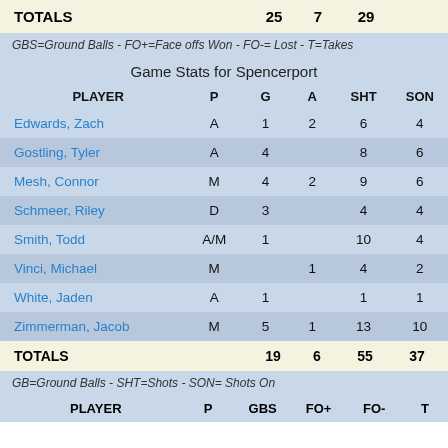| PLAYER | P | G | A | SHT | SON |
| --- | --- | --- | --- | --- | --- |
| TOTALS |  | 25 | 7 | 29 |  |
GBS=Ground Balls - FO+=Face offs Won - FO-= Lost - T=Takes
Game Stats for Spencerport
| PLAYER | P | G | A | SHT | SON |
| --- | --- | --- | --- | --- | --- |
| Edwards, Zach | A | 1 | 2 | 6 | 4 |
| Gostling, Tyler | A | 4 |  | 8 | 6 |
| Mesh, Connor | M | 4 | 2 | 9 | 6 |
| Schmeer, Riley | D | 3 |  | 4 | 4 |
| Smith, Todd | A/M | 1 |  | 10 | 4 |
| Vinci, Michael | M |  | 1 | 4 | 2 |
| White, Jaden | A | 1 |  | 1 | 1 |
| Zimmerman, Jacob | M | 5 | 1 | 13 | 10 |
| PLAYER | P | G | A | SHT | SON |
| --- | --- | --- | --- | --- | --- |
| TOTALS |  | 19 | 6 | 55 | 37 |
GB=Ground Balls - SHT=Shots - SON= Shots On
| PLAYER | P | GBS | FO+ | FO- | T |
| --- | --- | --- | --- | --- | --- |